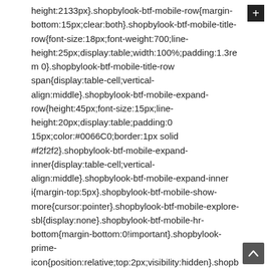height:2133px}.shopbylook-btf-mobile-row{margin-bottom:15px;clear:both}.shopbylook-btf-mobile-title-row{font-size:18px;font-weight:700;line-height:25px;display:table;width:100%;padding:1.3rem 0}.shopbylook-btf-mobile-title-row span{display:table-cell;vertical-align:middle}.shopbylook-btf-mobile-expand-row{height:45px;font-size:15px;line-height:20px;display:table;padding:0 15px;color:#0066C0;border:1px solid #f2f2f2}.shopbylook-btf-mobile-expand-inner{display:table-cell;vertical-align:middle}.shopbylook-btf-mobile-expand-inner i{margin-top:5px}.shopbylook-btf-mobile-show-more{cursor:pointer}.shopbylook-btf-mobile-explore-sbl{display:none}.shopbylook-btf-mobile-hr-bottom{margin-bottom:0!important}.shopbylook-prime-icon{position:relative;top:2px;visibility:hidden}.shopbylook-prime .shopbylook-prime-icon{visibility:visible}.shopbylook-btf-remove-anchor .mirai-btf-shopbylook-header{display:block}.shopbylook-btf-remove-anchor .shopbylook-btf-desktop-left-section{display:none}.shopbylook-btf-remove-anchor .a-fixed-left-grid-inner{padding-left:0!important}#shopbylook-btf-item. section{clear:both}@media screen and (max-width:520px)